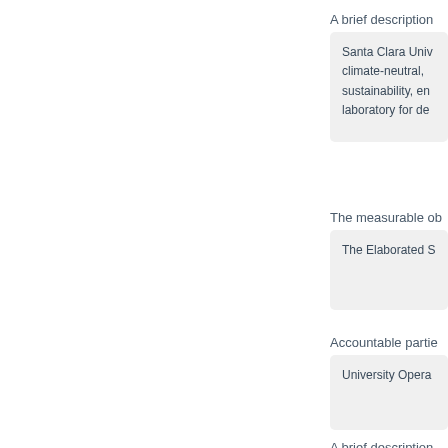A brief description
Santa Clara Univ... climate-neutral, sustainability, en... laboratory for de...
The measurable ob
The Elaborated S...
Accountable partie
University Opera...
A brief description